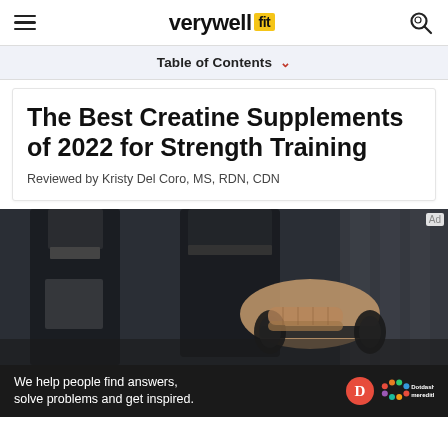verywell fit
Table of Contents
The Best Creatine Supplements of 2022 for Strength Training
Reviewed by Kristy Del Coro, MS, RDN, CDN
[Figure (photo): Person's hand gripping a dumbbell near a black protein shaker bottle in a gym setting, dark moody lighting]
We help people find answers, solve problems and get inspired. Dotdash meredith